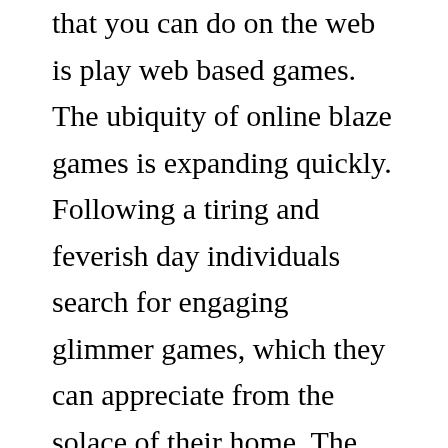that you can do on the web is play web based games. The ubiquity of online blaze games is expanding quickly. Following a tiring and feverish day individuals search for engaging glimmer games, which they can appreciate from the solace of their home. The developing reach just as further developed network speed of the web are two [linked text] significant explanations for the taking off prominence of internet fishing match-ups.